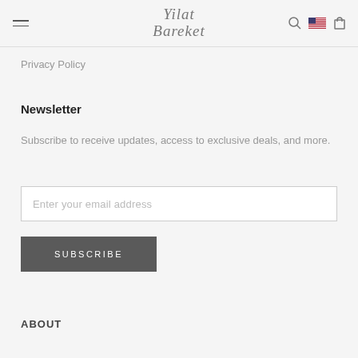Yilat Bareket
Privacy Policy
Newsletter
Subscribe to receive updates, access to exclusive deals, and more.
Enter your email address
SUBSCRIBE
ABOUT